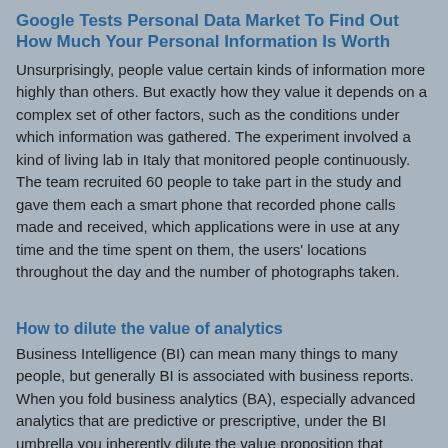Google Tests Personal Data Market To Find Out How Much Your Personal Information Is Worth
Unsurprisingly, people value certain kinds of information more highly than others. But exactly how they value it depends on a complex set of other factors, such as the conditions under which information was gathered. The experiment involved a kind of living lab in Italy that monitored people continuously. The team recruited 60 people to take part in the study and gave them each a smart phone that recorded phone calls made and received, which applications were in use at any time and the time spent on them, the users' locations throughout the day and the number of photographs taken.
How to dilute the value of analytics
Business Intelligence (BI) can mean many things to many people, but generally BI is associated with business reports. When you fold business analytics (BA), especially advanced analytics that are predictive or prescriptive, under the BI umbrella you inherently dilute the value proposition that analytics can provide to an organization. Why is this